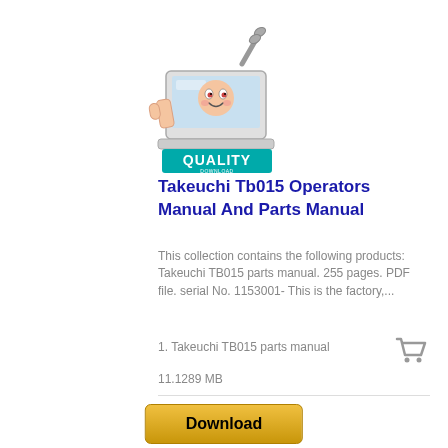[Figure (logo): Quality Download logo with cartoon laptop mascot holding a wrench and teal Quality Download banner]
Takeuchi Tb015 Operators Manual And Parts Manual
This collection contains the following products: Takeuchi TB015 parts manual. 255 pages. PDF file. serial No. 1153001- This is the factory,...
1. Takeuchi TB015 parts manual
11.1289 MB
Download
14.95 USD